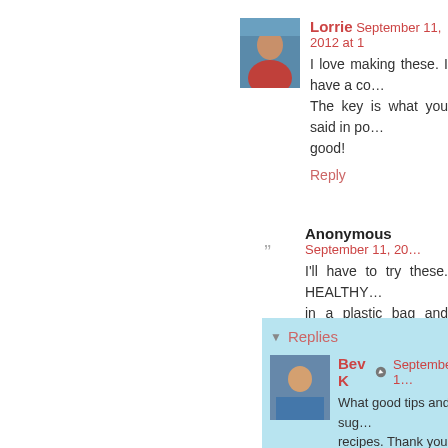Lorrie  September 11, 2012 at 1…
I love making these. I have a co… The key is what you said in po… good!
Reply
Anonymous  September 11, 20…
I'll have to try these. HEALTHY … in a plastic bag and really shak… covered.
Reply
Replies
Bev K  September 1…
What good tips and sug… recipes. Thank you!